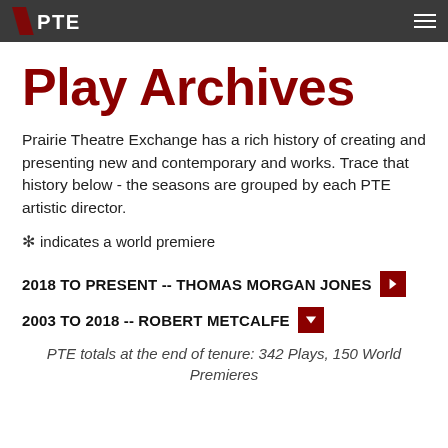PTE
Play Archives
Prairie Theatre Exchange has a rich history of creating and presenting new and contemporary and works. Trace that history below - the seasons are grouped by each PTE artistic director.
✪ indicates a world premiere
2018 TO PRESENT -- THOMAS MORGAN JONES
2003 TO 2018 -- ROBERT METCALFE
PTE totals at the end of tenure: 342 Plays, 150 World Premieres